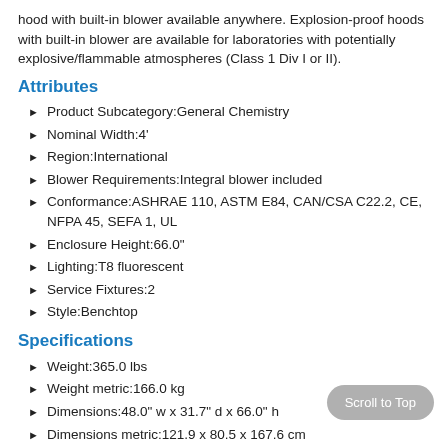hood with built-in blower available anywhere. Explosion-proof hoods with built-in blower are available for laboratories with potentially explosive/flammable atmospheres (Class 1 Div I or II).
Attributes
Product Subcategory:General Chemistry
Nominal Width:4'
Region:International
Blower Requirements:Integral blower included
Conformance:ASHRAE 110, ASTM E84, CAN/CSA C22.2, CE, NFPA 45, SEFA 1, UL
Enclosure Height:66.0"
Lighting:T8 fluorescent
Service Fixtures:2
Style:Benchtop
Specifications
Weight:365.0 lbs
Weight metric:166.0 kg
Dimensions:48.0" w x 31.7" d x 66.0" h
Dimensions metric:121.9 x 80.5 x 167.6 cm
Electrical:208-230 volts, 50 Hz, 5 amps